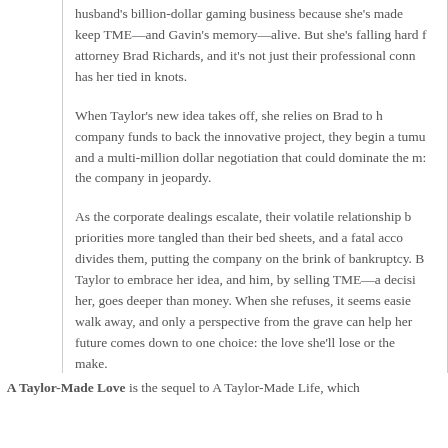Taylor Smith-Taylor is running her husband's billion-dollar gaming business because she's made a promise to keep TME—and Gavin's memory—alive. But she's falling hard for her new attorney Brad Richards, and it's not just their professional connection that has her tied in knots.
When Taylor's new idea takes off, she relies on Brad to help secure company funds to back the innovative project, they begin a tumultuous affair and a multi-million dollar negotiation that could dominate the market, or put the company in jeopardy.
As the corporate dealings escalate, their volatile relationship becomes priorities more tangled than their bed sheets, and a fatal accusation that divides them, putting the company on the brink of bankruptcy. Brad pressures Taylor to embrace her idea, and him, by selling TME—a decision that, for her, goes deeper than money. When she refuses, it seems easier for Brad to walk away, and only a perspective from the grave can help her see that her future comes down to one choice: the love she'll lose or the mistake she'll make.
A Taylor-Made Love is the sequel to A Taylor-Made Life, which